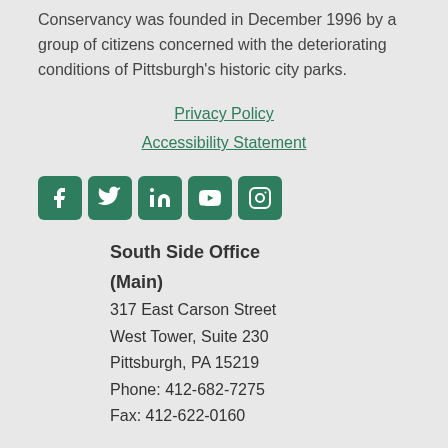Conservancy was founded in December 1996 by a group of citizens concerned with the deteriorating conditions of Pittsburgh's historic city parks.
Privacy Policy
Accessibility Statement
[Figure (infographic): Row of five social media icons (Facebook, Twitter, LinkedIn, YouTube, Instagram) in green rounded square buttons]
South Side Office (Main)
317 East Carson Street
West Tower, Suite 230
Pittsburgh, PA 15219
Phone: 412-682-7275
Fax: 412-622-0160